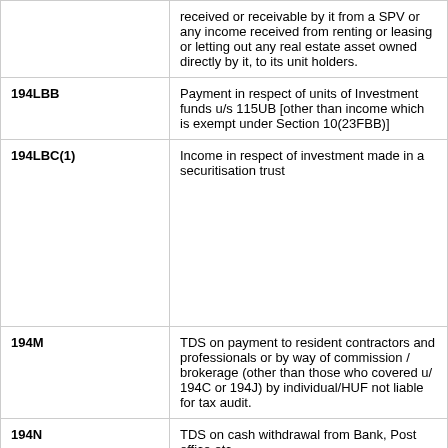| Section | Description |
| --- | --- |
|  | received or receivable by it from a SPV or any income received from renting or leasing or letting out any real estate asset owned directly by it, to its unit holders. |
| 194LBB | Payment in respect of units of Investment funds u/s 115UB [other than income which is exempt under Section 10(23FBB)] |
| 194LBC(1) | Income in respect of investment made in a securitisation trust |
| 194M | TDS on payment to resident contractors and professionals or by way of commission / brokerage (other than those who covered u/ 194C or 194J) by individual/HUF not liable for tax audit. |
| 194N | TDS on cash withdrawal from Bank, Post office etc. |
| 194N | TDS on cash withdrawal from Bank, Post office etc. |